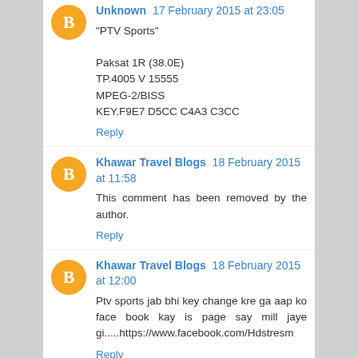Unknown 17 February 2015 at 23:05
"PTV Sports"

Paksat 1R (38.0E)
TP.4005 V 15555
MPEG-2/BISS
KEY.F9E7 D5CC C4A3 C3CC
Reply
Khawar Travel Blogs 18 February 2015 at 11:58
This comment has been removed by the author.
Reply
Khawar Travel Blogs 18 February 2015 at 12:00
Ptv sports jab bhi key change kre ga aap ko face book kay is page say mill jaye gi.....https://www.facebook.com/Hdstresm
Reply